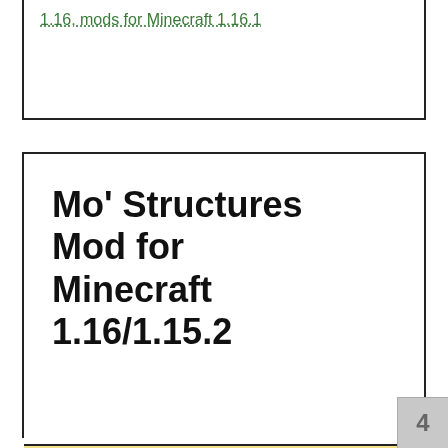1.16, mods for Minecraft 1.16.1
Mo' Structures Mod for Minecraft 1.16/1.15.2
admin
27.05.2020